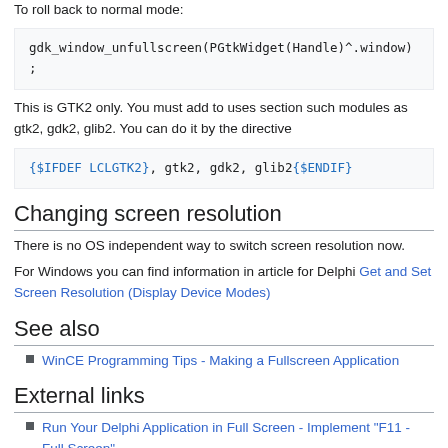To roll back to normal mode:
This is GTK2 only. You must add to uses section such modules as gtk2, gdk2, glib2. You can do it by the directive
Changing screen resolution
There is no OS independent way to switch screen resolution now.
For Windows you can find information in article for Delphi Get and Set Screen Resolution (Display Device Modes)
See also
WinCE Programming Tips - Making a Fullscreen Application
External links
Run Your Delphi Application in Full Screen - Implement "F11 - Full Screen"